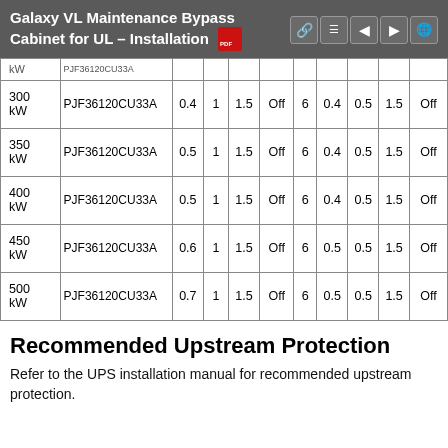Galaxy VL Maintenance Bypass Cabinet for UL – Installation
| kW | Part No. |  |  |  |  |  |  |  |  |  |
| --- | --- | --- | --- | --- | --- | --- | --- | --- | --- | --- |
| 300 kW | PJF36120CU33A | 0.4 | 1 | 1.5 | Off | 6 | 0.4 | 0.5 | 1.5 | Off |
| 350 kW | PJF36120CU33A | 0.5 | 1 | 1.5 | Off | 6 | 0.4 | 0.5 | 1.5 | Off |
| 400 kW | PJF36120CU33A | 0.5 | 1 | 1.5 | Off | 6 | 0.4 | 0.5 | 1.5 | Off |
| 450 kW | PJF36120CU33A | 0.6 | 1 | 1.5 | Off | 6 | 0.5 | 0.5 | 1.5 | Off |
| 500 kW | PJF36120CU33A | 0.7 | 1 | 1.5 | Off | 6 | 0.5 | 0.5 | 1.5 | Off |
Recommended Upstream Protection
Refer to the UPS installation manual for recommended upstream protection.